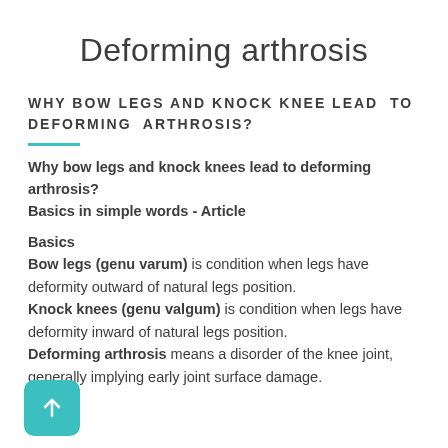Deforming arthrosis
WHY BOW LEGS AND KNOCK KNEE LEAD TO DEFORMING ARTHROSIS?
Why bow legs and knock knees lead to deforming arthrosis?
Basics in simple words - Article
Basics
Bow legs (genu varum) is condition when legs have deformity outward of natural legs position.
Knock knees (genu valgum) is condition when legs have deformity inward of natural legs position.
Deforming arthrosis means a disorder of the knee joint, generally implying early joint surface damage.